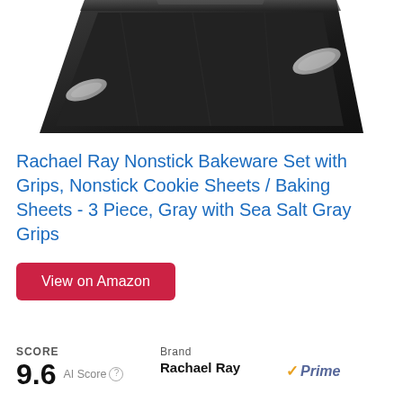[Figure (photo): Partial product photo of a black nonstick baking sheet with gray grips, viewed from above at an angle, cropped at top]
Rachael Ray Nonstick Bakeware Set with Grips, Nonstick Cookie Sheets / Baking Sheets - 3 Piece, Gray with Sea Salt Gray Grips
View on Amazon
SCORE
9.6 AI Score
Brand
Rachael Ray
Prime